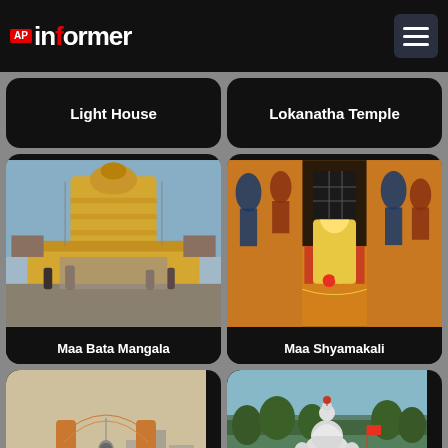[Figure (logo): AP Informer app logo with red AP badge and white informer text]
Light House
Lokanatha Temple
[Figure (photo): Maa Bata Mangala temple exterior with yellow gopuram and crowd]
[Figure (photo): Maa Shyamakali temple interior with colorful wall paintings and idol]
Maa Bata Mangala
Maa Shyamakali
[Figure (photo): Monument with arched structure and bell in urban setting]
[Figure (photo): White temple near water body with trees in background]